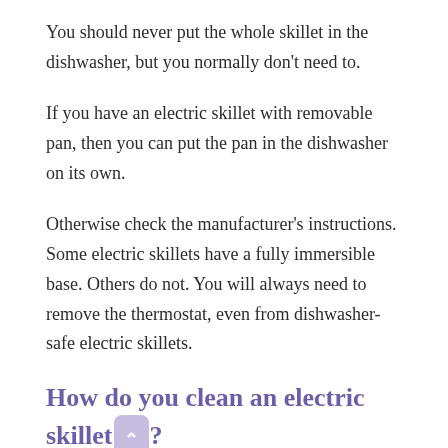You should never put the whole skillet in the dishwasher, but you normally don't need to.
If you have an electric skillet with removable pan, then you can put the pan in the dishwasher on its own.
Otherwise check the manufacturer's instructions. Some electric skillets have a fully immersible base. Others do not. You will always need to remove the thermostat, even from dishwasher-safe electric skillets.
How do you clean an electric skillet?
Be sure to read the instruction manual, including how